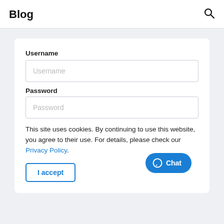Blog
Username
Username (input placeholder)
Password
Password (input placeholder)
This site uses cookies. By continuing to use this website, you agree to their use. For details, please check our Privacy Policy.
I accept
Chat